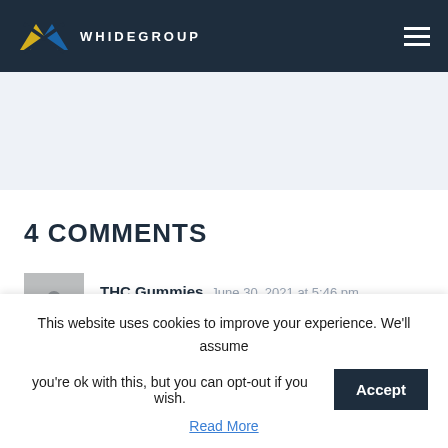WHIDEGROUP
4 COMMENTS
THC Gummies June 30, 2021 at 5:46 pm
This website uses cookies to improve your experience. We'll assume you're ok with this, but you can opt-out if you wish.
Read More